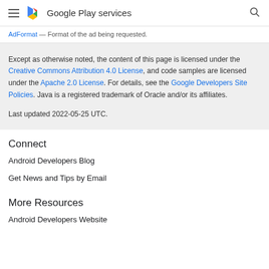Google Play services
AdFormat — Format of the ad being requested.
Except as otherwise noted, the content of this page is licensed under the Creative Commons Attribution 4.0 License, and code samples are licensed under the Apache 2.0 License. For details, see the Google Developers Site Policies. Java is a registered trademark of Oracle and/or its affiliates.

Last updated 2022-05-25 UTC.
Connect
Android Developers Blog
Get News and Tips by Email
More Resources
Android Developers Website